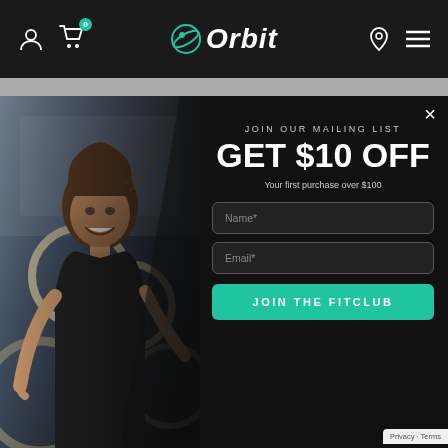[Figure (screenshot): Orbit fitness/sport e-commerce website with navigation bar showing user icon, cart with badge '0', Orbit logo, location pin, and hamburger menu on dark background.]
[Figure (photo): A smiling athletic woman working out on gymnastic rings in a gym, used as left-panel image in the modal popup.]
JOIN OUR MAILING LIST
GET $10 OFF
Your first purchase over $100
Name*
Email*
JOIN THE FITCLUB
Pilates Resistance Bands
$35.00
Pro Core Sliders
$40.00